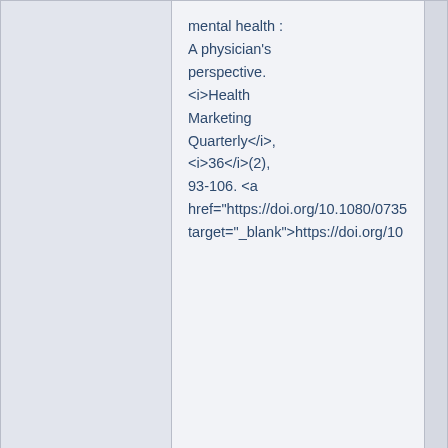| Field | Value |  |
| --- | --- | --- |
|  | mental health : A physician's perspective. <i>Health Marketing Quarterly</i>, <i>36</i>(2), 93-106. <a href="https://doi.org/10.1080/0735..." target="_blank">https://doi.org/10... |  |
| dc.identifier.other | CONVID_29719299 |  |
| dc.identifier.other | TUTKAID_81174 |  |
| dc.identifier.uri | https://jyx.jyu.fi/handle/123456789... |  |